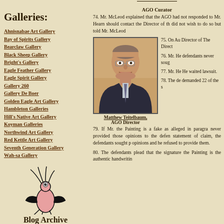Galleries:
Ahnisnabae Art Gallery
Bay of Spirits Gallery
Bearclaw Gallery
Black Sheep Gallery
Bright's Gallery
Eagle Feather Gallery
Eagle Spirit Gallery
Gallery 260
Gallery De Boer
Golden Eagle Art Gallery
Hambleton Galleries
Hill's Native Art Gallery
Koyman Galleries
Northwind Art Gallery
Red Kettle Art Gallery
Seventh Generation Gallery
Wah-sa Gallery
[Figure (illustration): Indigenous art logo depicting a stylized bird/creature in black and pink]
Blog Archive
AGO Curator
74. Mr. McLeod explained that the AGO had not responded to Mr. Hearn should contact the Director of th did not wish to do so but told Mr. McLeod
[Figure (photo): Portrait photo of Matthew Teitelbaum, AGO Director, a middle-aged man in a suit with glasses, smiling]
Matthew Teitelbaum, AGO Director
75. On Au Director of The Direct
76. Mr. He defendants never soug
77. Mr. He He waited lawsuit.
78. The de demanded 22 of the s
79. If Mr. the Painting is a fake as alleged in paragra never provided those opinions to the defen statement of claim, the defendants sought p opinions and he refused to provide them.
80. The defendants plead that the signature the Painting is the authentic handwritin